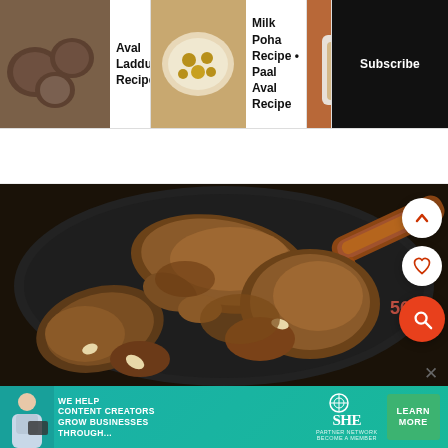[Figure (screenshot): Top navigation bar with three recipe thumbnails: Aval Laddu Recipe, Milk Poha Recipe • Paal Aval Recipe, Aval Sarkkara Pongal Recipe • Poha Sweet, and a Subscribe button]
Aval Laddu Recipe
Milk Poha Recipe • Paal Aval Recipe
Aval Sarkk... Ponga...Re... • Poha Sw...
Subscribe
[Figure (photo): Close-up photo of a dark non-stick pan containing crumbled brown jaggery/sugar mixture being stirred with a wooden spatula, resembling a South Indian sweet preparation step]
[Figure (screenshot): Advertisement banner for SHE Media Partner Network: 'We help content creators grow businesses through...' with a Learn More button]